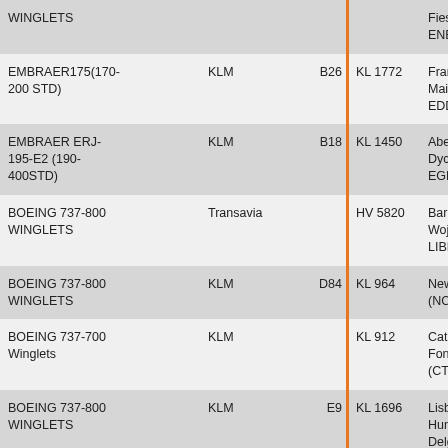| Aircraft | Airline | Gate | Flight | Destination |
| --- | --- | --- | --- | --- |
| WINGLETS |  |  |  | Friesland (BGO / ENBR) |
| EMBRAER175(170-200 STD) | KLM | B26 | KL 1772 | Frankfurt Am Main (FRA / EDDF) |
| EMBRAER ERJ-195-E2 (190-400STD) | KLM | B18 | KL 1450 | Aberdeen Dyce (ABZ / EGPD) |
| BOEING 737-800 WINGLETS | Transavia |  | HV 5820 | Bari Karol Wojtyla (BRI / LIBD) |
| BOEING 737-800 WINGLETS | KLM | D84 | KL 964 | Newcastle (NCL / EGNT) |
| BOEING 737-700 Winglets | KLM |  | KL 912 | Catania - Fontanarossa (CTA / LICC) |
| BOEING 737-800 WINGLETS | KLM | E9 | KL 1696 | Lisbon - Humberto Delgado (lisbon Portela (LIS / LPPT) |